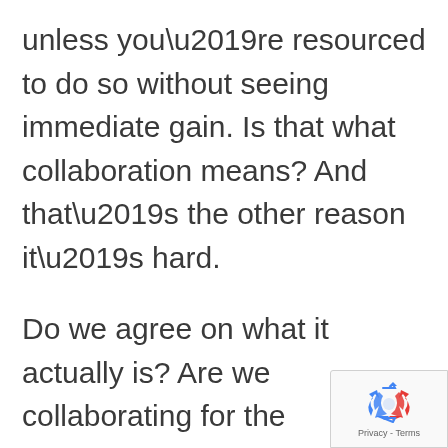unless you’re resourced to do so without seeing immediate gain. Is that what collaboration means? And that’s the other reason it’s hard.
Do we agree on what it actually is? Are we collaborating for the immediate aim of linking the people we support up with other services (this seems to be the general definition of the sector)? That’s great, but believe me, we could literally spend all our time doing this and
[Figure (logo): reCAPTCHA badge with recycling-style logo and Privacy - Terms text]